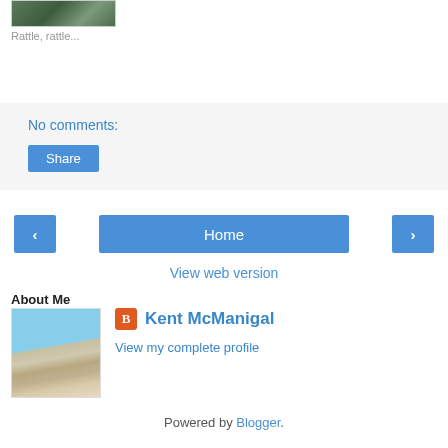[Figure (photo): Small thumbnail image of a nature/outdoor scene]
Rattle, rattle...
No comments:
Share
Home
View web version
About Me
[Figure (photo): Profile photo of Kent McManigal wearing a wide-brimmed hat]
Kent McManigal
View my complete profile
Powered by Blogger.